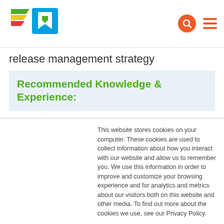[Figure (logo): Pluralsight-style logo with colorful arrows and a blue bookmark icon]
release management strategy
Recommended Knowledge & Experience:
Prerequisites include a certification in either Azure Administration or Azure
This website stores cookies on your computer. These cookies are used to collect information about how you interact with our website and allow us to remember you. We use this information in order to improve and customize your browsing experience and for analytics and metrics about our visitors both on this website and other media. To find out more about the cookies we use, see our Privacy Policy.